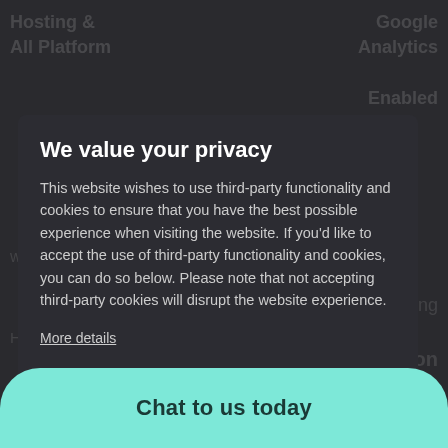[Figure (screenshot): Dark website background with faded column text including 'Hosting & All Platform', 'Google Analytics', 'Enabled', 'Enhanced Listing' visible behind a cookie consent modal overlay.]
We value your privacy
This website wishes to use third-party functionality and cookies to ensure that you have the best possible experience when visiting the website. If you'd like to accept the use of third-party functionality and cookies, you can do so below. Please note that not accepting third-party cookies will disrupt the website experience.
More details
Necessary   Third-party cookies
Accept selected   Accept all
Chat to us today